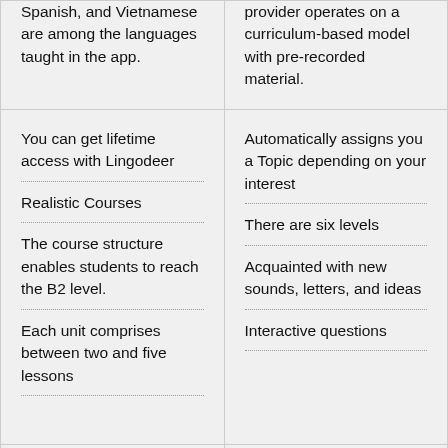Spanish, and Vietnamese are among the languages taught in the app.
provider operates on a curriculum-based model with pre-recorded material.
You can get lifetime access with Lingodeer
Realistic Courses
The course structure enables students to reach the B2 level.
Each unit comprises between two and five lessons
Automatically assigns you a Topic depending on your interest
There are six levels
Acquainted with new sounds, letters, and ideas
Interactive questions